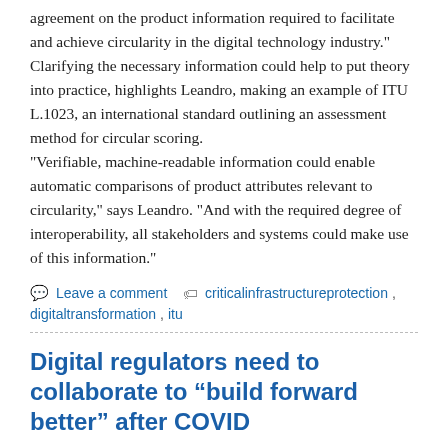agreement on the product information required to facilitate and achieve circularity in the digital technology industry." Clarifying the necessary information could help to put theory into practice, highlights Leandro, making an example of ITU L.1023, an international standard outlining an assessment method for circular scoring. "Verifiable, machine-readable information could enable automatic comparisons of product attributes relevant to circularity," says Leandro. "And with the required degree of interoperability, all stakeholders and systems could make use of this information."
Leave a comment  criticalinfrastructureprotection, digitaltransformation, itu
Digital regulators need to collaborate to “build forward better” after COVID
July 12, 2021  Neil Walker  Agency News, Industry News, Telecomms sector